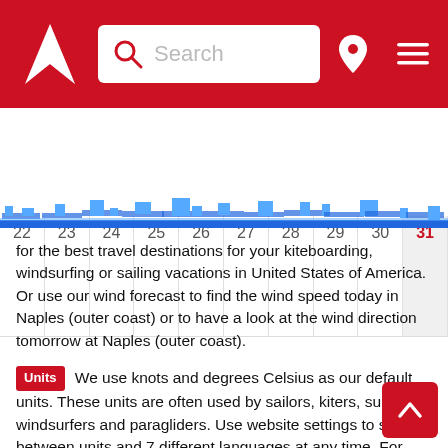[Figure (screenshot): Red navigation header with wind app logo (white triangle/arrow), search box with magnifying glass icon, location pin icon, and hamburger menu icon]
[Figure (other): Calendar strip showing dates 22-31 with wind forecast bar chart below (blue bars of varying heights). Date 31 is highlighted in red on a grey background.]
for the best travel destinations for your kiteboarding, windsurfing or sailing vacations in United States of America. Or use our wind forecast to find the wind speed today in Naples (outer coast) or to have a look at the wind direction tomorrow at Naples (outer coast).
Units  We use knots and degrees Celsius as our default units. These units are often used by sailors, kiters, surfers, windsurfers and paragliders. Use website settings to switch between units and 7 different languages at any time. For converting between wind speed units such as knots, km/h (kilometers per hour), m/s (meters per second), and mph (miles per hour) use our wind speed calculator.
Help  If you need more information about our wind forecast for Naples (outer coast), have a look at our help section.